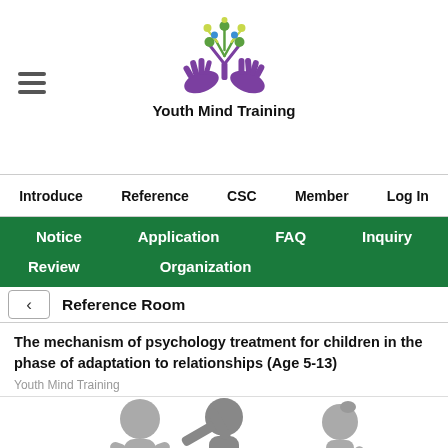[Figure (logo): Youth Mind Training logo with colorful tree and hands, purple/green/yellow colors]
Youth Mind Training
Introduce  Reference  CSC  Member  Log In
Notice  Application  FAQ  Inquiry  Review  Organization
Reference Room
The mechanism of psychology treatment for children in the phase of adaptation to relationships (Age 5-13)
Youth Mind Training
[Figure (illustration): Gray silhouette illustration of children interacting, one child pointing or pushing another]